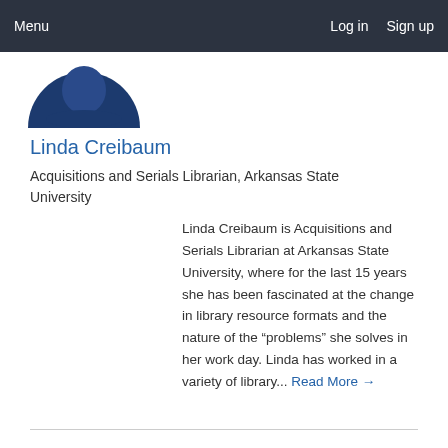Menu   Log in   Sign up
[Figure (photo): Partial profile photo of Linda Creibaum showing top of head with dark hair and blue clothing]
Linda Creibaum
Acquisitions and Serials Librarian, Arkansas State University
Linda Creibaum is Acquisitions and Serials Librarian at Arkansas State University, where for the last 15 years she has been fascinated at the change in library resource formats and the nature of the “problems” she solves in her work day. Linda has worked in a variety of library... Read More →